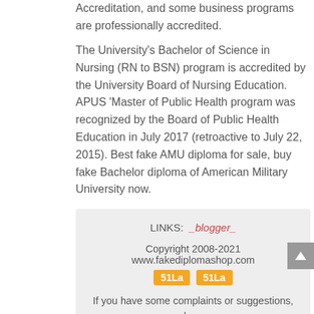Accreditation, and some business programs are professionally accredited.
The University's Bachelor of Science in Nursing (RN to BSN) program is accredited by the University Board of Nursing Education. APUS 'Master of Public Health program was recognized by the Board of Public Health Education in July 2017 (retroactive to July 22, 2015). Best fake AMU diploma for sale, buy fake Bachelor diploma of American Military University now.
LINKS: _blogger_
Copyright 2008-2021 www.fakediplomashop.com
51La 51La
If you have some complaints or suggestions, please feel free to contact: fakediplomashop@outlook.com